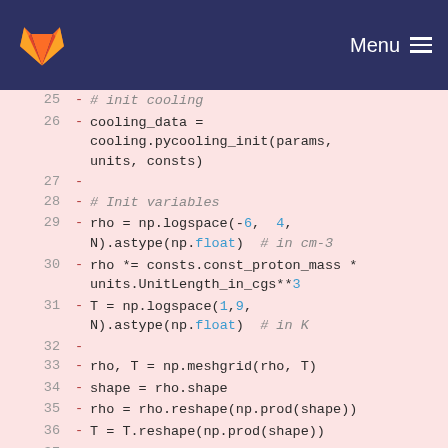GitLab — Menu
Code diff showing lines 25-39 of a Python script involving cooling initialization and variable setup using numpy